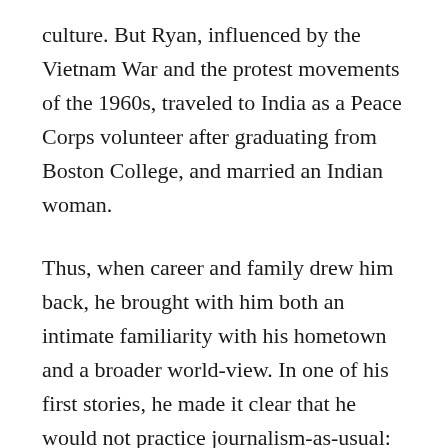culture. But Ryan, influenced by the Vietnam War and the protest movements of the 1960s, traveled to India as a Peace Corps volunteer after graduating from Boston College, and married an Indian woman.
Thus, when career and family drew him back, he brought with him both an intimate familiarity with his hometown and a broader world-view. In one of his first stories, he made it clear that he would not practice journalism-as-usual: he reported on how local public-housing officials discriminated against the city’s burgeoning Latino community. Not long after he began reporting on the toxic-waste story, Ryan recalls, an old friend of his father’s told him, “Your father would be turning over in his grave if he knew what you were